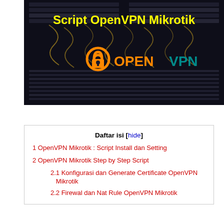[Figure (illustration): Dark server rack background image with yellow bold text 'Script OpenVPN Mikrotik' at top and OpenVPN logo (orange lock icon with 'OPENVPN' text in orange and teal) below]
Daftar isi [hide]
1 OpenVPN Mikrotik : Script Install dan Setting
2 OpenVPN Mikrotik Step by Step Script
2.1 Konfigurasi dan Generate Certificate OpenVPN Mikrotik
2.2 Firewal dan Nat Rule OpenVPN Mikrotik